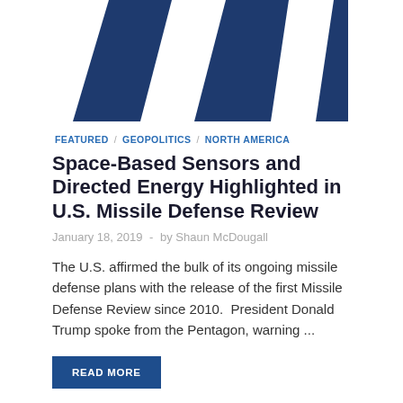[Figure (illustration): Abstract diagonal geometric shapes in dark navy blue and white, serving as a decorative hero image for the article]
FEATURED / GEOPOLITICS / NORTH AMERICA
Space-Based Sensors and Directed Energy Highlighted in U.S. Missile Defense Review
January 18, 2019  -  by Shaun McDougall
The U.S. affirmed the bulk of its ongoing missile defense plans with the release of the first Missile Defense Review since 2010.  President Donald Trump spoke from the Pentagon, warning ...
READ MORE